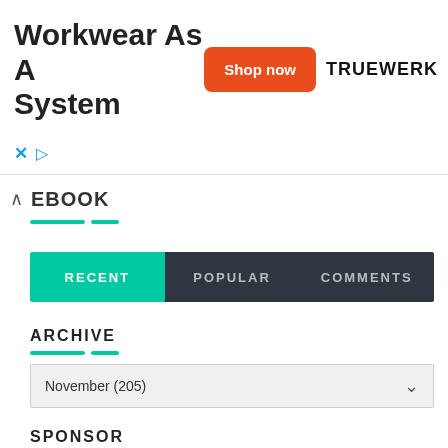[Figure (screenshot): Advertisement banner for Truewerk workwear with orange 'Shop now' button and bold heading 'Workwear As A System']
EBOOK
[Figure (infographic): Tab navigation bar with three tabs: RECENT (teal/active), POPULAR (dark), COMMENTS (dark)]
ARCHIVE
November (205)
SPONSOR